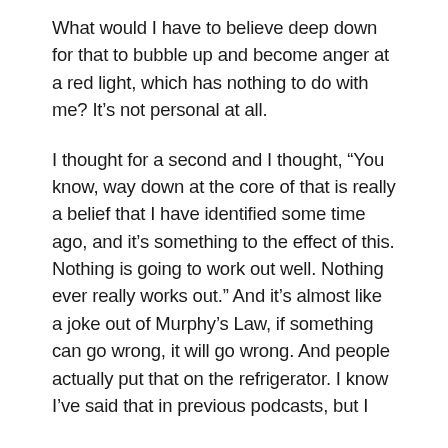What would I have to believe deep down for that to bubble up and become anger at a red light, which has nothing to do with me? It’s not personal at all.
I thought for a second and I thought, “You know, way down at the core of that is really a belief that I have identified some time ago, and it’s something to the effect of this. Nothing is going to work out well. Nothing ever really works out.” And it’s almost like a joke out of Murphy’s Law, if something can go wrong, it will go wrong. And people actually put that on the refrigerator. I know I’ve said that in previous podcasts, but I